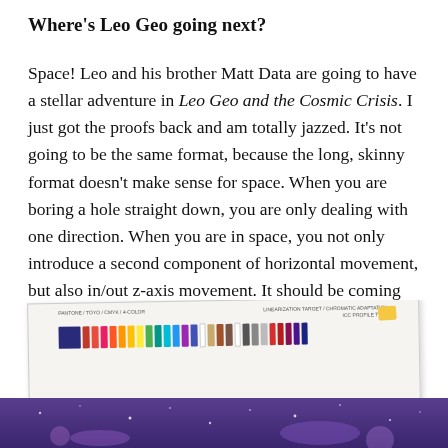Where's Leo Geo going next?
Space! Leo and his brother Matt Data are going to have a stellar adventure in Leo Geo and the Cosmic Crisis. I just got the proofs back and am totally jazzed. It's not going to be the same format, because the long, skinny format doesn't make sense for space. When you are boring a hole straight down, you are only dealing with one direction. When you are in space, you not only introduce a second component of horizontal movement, but also in/out z-axis movement. It should be coming out in September!
[Figure (photo): A printed proof sheet of the book cover for Leo Geo and the Cosmic Crisis, showing color calibration swatches and a partial view of the space-themed book cover with a purple/cosmic background.]